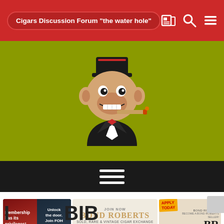Cigars Discussion Forum "the water hole"
[Figure (logo): Stylized monkey/chimp mascot wearing a fez hat and suit, smoking a cigar, on an olive-green background]
[Figure (infographic): Dark navigation bar with hamburger menu icon (three horizontal white lines)]
[Figure (infographic): Three advertisement banners side by side: left - red/dark 'Membership has its privileges! Join FOH now!'; center - Bond Roberts Sold, Rare & Vintage Cigar Exchange; right - Apply Today, Become a Bond Roberts Seller!]
L